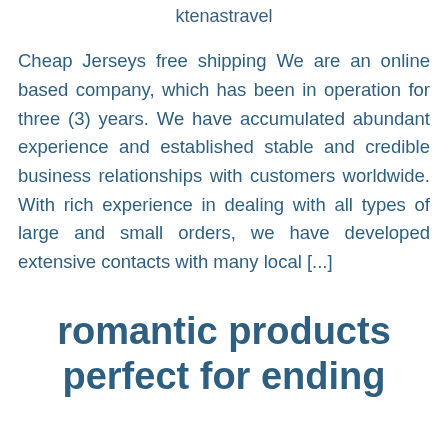ktenastravel
Cheap Jerseys free shipping We are an online based company, which has been in operation for three (3) years. We have accumulated abundant experience and established stable and credible business relationships with customers worldwide. With rich experience in dealing with all types of large and small orders, we have developed extensive contacts with many local [...]
romantic products perfect for ending